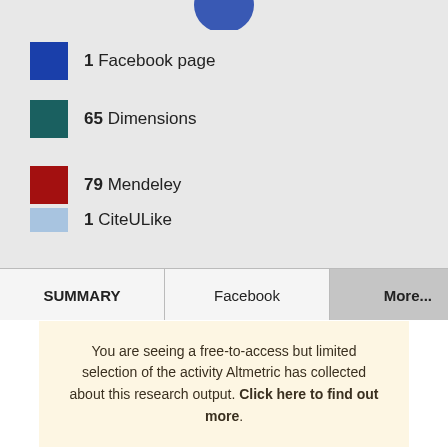[Figure (other): Partial Altmetric donut/logo circle at top of page (cropped)]
1 Facebook page
65 Dimensions
79 Mendeley
1 CiteULike
SUMMARY | Facebook | More...
You are seeing a free-to-access but limited selection of the activity Altmetric has collected about this research output. Click here to find out more.